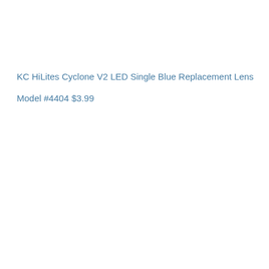KC HiLites Cyclone V2 LED Single Blue Replacement Lens
Model #4404
$3.99